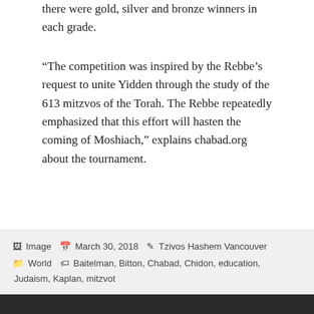there were gold, silver and bronze winners in each grade.
“The competition was inspired by the Rebbe’s request to unite Yidden through the study of the 613 mitzvos of the Torah. The Rebbe repeatedly emphasized that this effort will hasten the coming of Moshiach,” explains chabad.org about the tournament.
Print/Email
[Figure (infographic): Social sharing icons: Twitter (blue circle), Facebook (dark blue circle), Google+ (red circle), each with count 0 below]
Image  March 30, 2018  Tzivos Hashem Vancouver  World  Baitelman, Bitton, Chabad, Chidon, education, Judaism, Kaplan, mitzvot